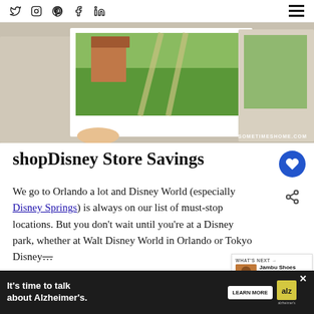Social icons: Twitter, Instagram, Pinterest, Facebook, LinkedIn | Hamburger menu
[Figure (photo): Hero image of a hand holding a Polaroid photo of a scenic countryside road with green fields and a building, overlaid on a blurred background with more photos. Watermark reads SOMETIMESHOME.COM]
shopDisney Store Savings
We go to Orlando a lot and Disney World (especially Disney Springs) is always on our list of must-stop locations. But you don't wait until you're at a Disney park, whether at Walt Disney World in Orlando or Tokyo Disney...
[Figure (other): What's Next panel: Jambu Shoes Review with small product image]
[Figure (other): Advertisement banner: It's time to talk about Alzheimer's. LEARN MORE. Alzheimer's Association logo.]